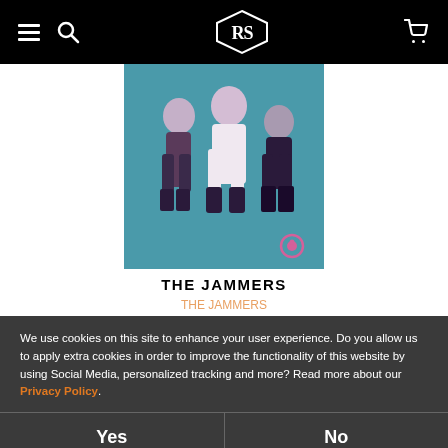Navigation bar with hamburger menu, search icon, logo, and cart icon
[Figure (photo): Album cover art showing three stylized figures (musicians) against a blue-teal background, duotone/high-contrast purple and white style, with a small pink circular logo in the bottom right corner]
THE JAMMERS
THE JAMMERS
We use cookies on this site to enhance your user experience. Do you allow us to apply extra cookies in order to improve the functionality of this website by using Social Media, personalized tracking and more? Read more about our Privacy Policy.
Yes
No